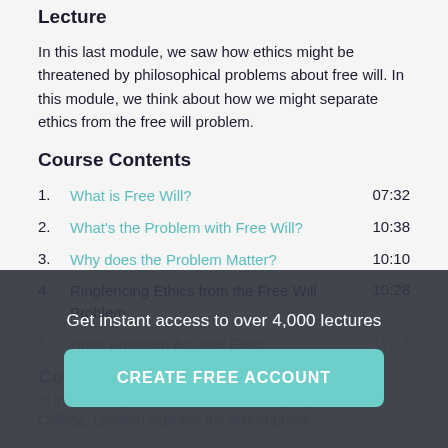Lecture
In this last module, we saw how ethics might be threatened by philosophical problems about free will. In this module, we think about how we might separate ethics from the free will problem.
Course Contents
1. What is Free Will? 07:32
2. What's the Problem with Free Will? 10:38
3. Why does the Problem Matter? 10:10
4. Ringfencing Ethics from the Free Will Problem 10:28
5. Does Freedom Actually Exist 17:13
Get instant access to over 4,000 lectures
CREATE FREE ACCOUNT
Co
In this course, Professor Thomas Pink (King's College, London) explores the philosophical